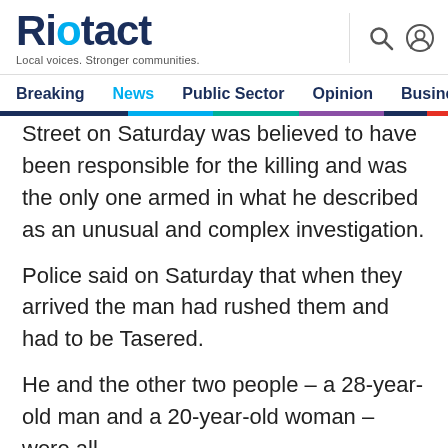Riotact — Local voices. Stronger communities.
Breaking  News  Public Sector  Opinion  Business
Street on Saturday was believed to have been responsible for the killing and was the only one armed in what he described as an unusual and complex investigation.
Police said on Saturday that when they arrived the man had rushed them and had to be Tasered.
He and the other two people – a 28-year-old man and a 20-year-old woman – were all